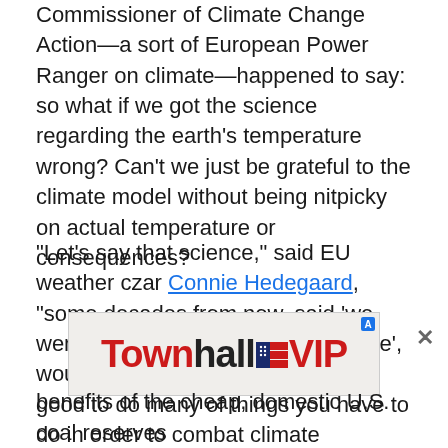Commissioner of Climate Change Action—a sort of European Power Ranger on climate—happened to say: so what if we got the science regarding the earth's temperature wrong? Can't we just be grateful to the climate model without being nitpicky on actual temperature or consequences?
"Let's say that science," said EU weather czar Connie Hedegaard, "some decades from now, said 'we were wrong, it was not about climate', would it not in any case have been good to do many of things you have to do in order to combat climate change?"
What? Like riding bikes more? Drinking one glass of red wine a day? Shipping more Powder River Basin
[Figure (other): Townhall VIP advertisement banner with close button and small icon]
benefits of the cheap, domestic U.S. coal reserves